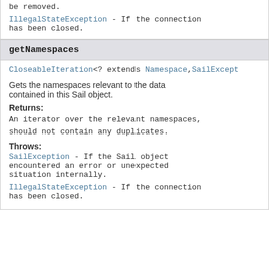be removed.
IllegalStateException - If the connection has been closed.
getNamespaces
CloseableIteration<? extends Namespace,SailException>
Gets the namespaces relevant to the data contained in this Sail object.
Returns:
An iterator over the relevant namespaces, should not contain any duplicates.
Throws:
SailException - If the Sail object encountered an error or unexpected situation internally.
IllegalStateException - If the connection has been closed.